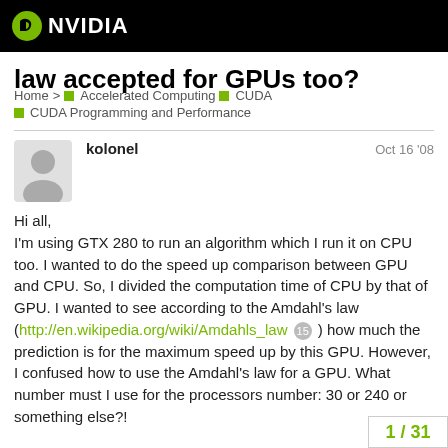NVIDIA
law accepted for GPUs too?
Home > Accelerated Computing CUDA CUDA Programming and Performance
kolonel — Oct 16 '08
Hi all,
I'm using GTX 280 to run an algorithm which I run it on CPU too. I wanted to do the speed up comparison between GPU and CPU. So, I divided the computation time of CPU by that of GPU. I wanted to see according to the Amdahl's law (http://en.wikipedia.org/wiki/Amdahls_law [15]) how much the prediction is for the maximum speed up by this GPU. However, I confused how to use the Amdahl's law for a GPU. What number must I use for the processors number: 30 or 240 or something else?!
1 / 31